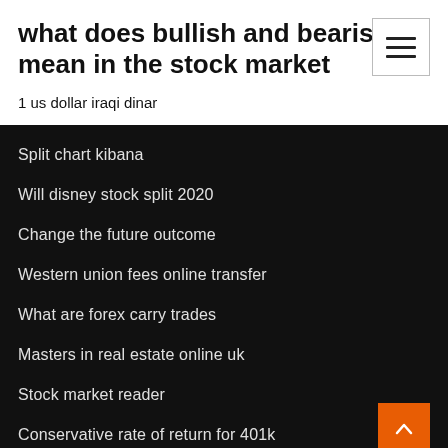what does bullish and bearish mean in the stock market
1 us dollar iraqi dinar
Split chart kibana
Will disney stock split 2020
Change the future outcome
Western union fees online transfer
What are forex carry trades
Masters in real estate online uk
Stock market reader
Conservative rate of return for 401k